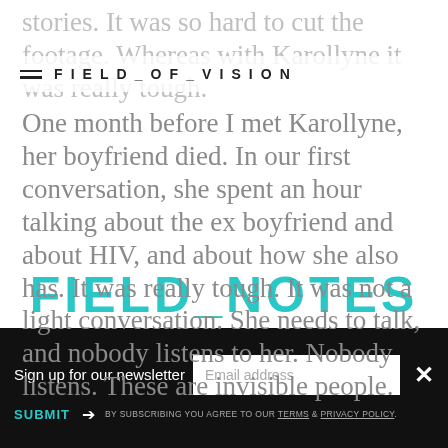FIELD_OF_VISION
stories. It was so hard to cut the footage. Whereas with Karollyne it was really tough. One month before I met Karollyne, her boyfriend died. In our first conversation, she spent an hour talking about the ex boyfriend and about HIV, and about how she also has. It was really tough. It was not a light conversation. She needs to talk, and nobody listens to her. Nobody listens. These are invisible people.
FIELD NOTES
Sign up for our newsletter
SUBMIT → BY SUBSCRIBING YOU AGREE TO OUR TERMS & PRIVACY POLICY.